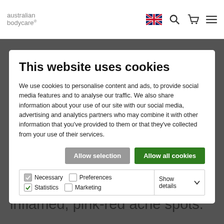australian bodycare®
This website uses cookies
We use cookies to personalise content and ads, to provide social media features and to analyse our traffic. We also share information about your use of our site with our social media, advertising and analytics partners who may combine it with other information that you've provided to them or that they've collected from your use of their services.
Allow selection | Allow all cookies
| ✓ Necessary | ☐ Preferences | ✓ Statistics | Show details ∨ |
| ☐ Marketing |  |  |  |
condition and inflammatory describes the way your immune system reacts to create inflamed, pink-red acne spots.